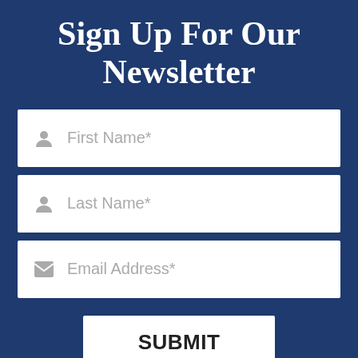Sign Up For Our Newsletter
First Name*
Last Name*
Email Address*
SUBMIT
[Figure (logo): reCAPTCHA badge with circular arrows icon and 'Privacy - Terms' text]
Privacy - Terms